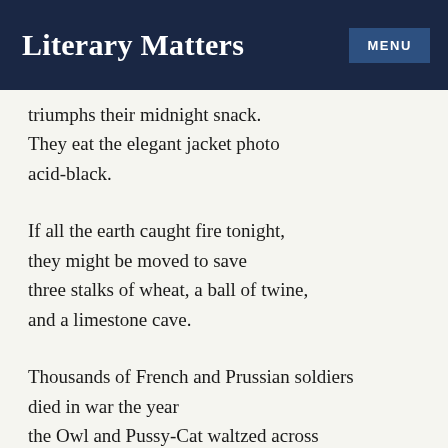Literary Matters
triumphs their midnight snack.
They eat the elegant jacket photo
acid-black.
If all the earth caught fire tonight,
they might be moved to save
three stalks of wheat, a ball of twine,
and a limestone cave.
Thousands of French and Prussian soldiers
died in war the year
the Owl and Pussy-Cat waltzed across
the mind of Lear.